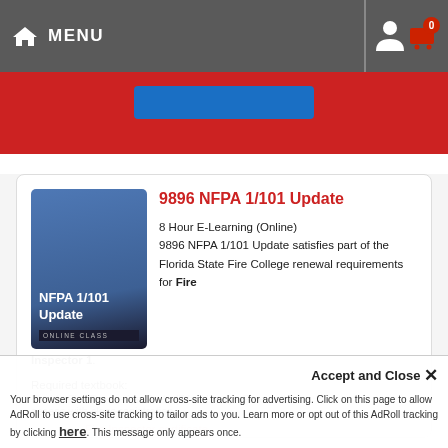MENU
[Figure (screenshot): Red banner with blue button partially visible]
9896 NFPA 1/101 Update
8 Hour E-Learning (Online)
9896 NFPA 1/101 Update satisfies part of the Florida State Fire College renewal requirements for Fire Inspector 1.
Required textbook:
Florida Fire Prevention Code (7th edition) - Free online access with class registration
Accept and Close ×
Your browser settings do not allow cross-site tracking for advertising. Click on this page to allow AdRoll to use cross-site tracking to tailor ads to you. Learn more or opt out of this AdRoll tracking by clicking here. This message only appears once.
Fire Inspector certificate renewal